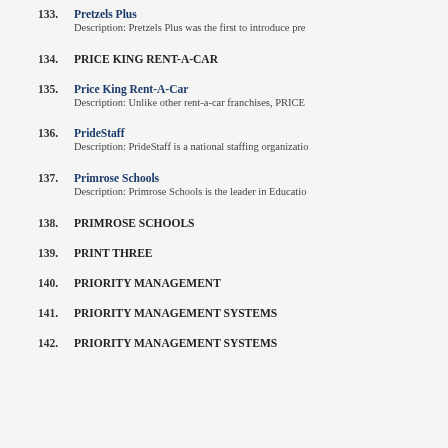133. Pretzels Plus — Description: Pretzels Plus was the first to introduce pre
134. PRICE KING RENT-A-CAR
135. Price King Rent-A-Car — Description: Unlike other rent-a-car franchises, PRICE
136. PrideStaff — Description: PrideStaff is a national staffing organizatio
137. Primrose Schools — Description: Primrose Schools is the leader in Educatio
138. PRIMROSE SCHOOLS
139. PRINT THREE
140. PRIORITY MANAGEMENT
141. PRIORITY MANAGEMENT SYSTEMS
142. PRIORITY MANAGEMENT SYSTEMS